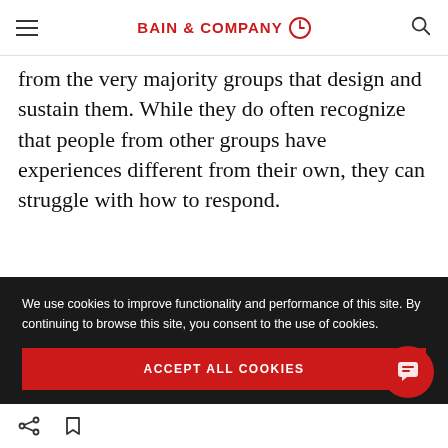BAIN & COMPANY
from the very majority groups that design and sustain them. While they do often recognize that people from other groups have experiences different from their own, they can struggle with how to respond.
“I think all the roles are
We use cookies to improve functionality and performance of this site. By continuing to browse this site, you consent to the use of cookies.
ACCEPT ALL COOKIES